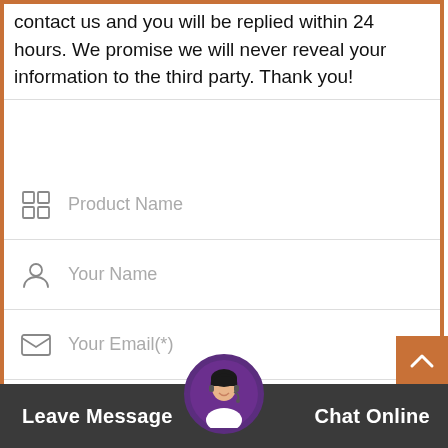contact us and you will be replied within 24 hours. We promise we will never reveal your information to the third party. Thank you!
Product Name
Your Name
Your Email(*)
Your Phone or Whatsapp
Equipment name, most reported issues(*)
Leave Message
Chat Online